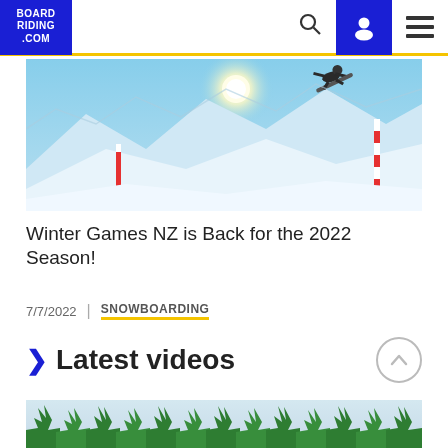BOARDRIDING.COM — navigation bar with logo, search, user, and menu icons
[Figure (photo): Snowboarder performing a jump trick in the air above a snow-covered ski slope under a bright blue sky with the sun visible, red and white poles/flags in the background.]
Winter Games NZ is Back for the 2022 Season!
7/7/2022  |  SNOWBOARDING
Latest videos
[Figure (photo): Partial view of a snowy mountain scene — bottom strip of a video thumbnail showing green trees/pines against a light grey-blue sky.]